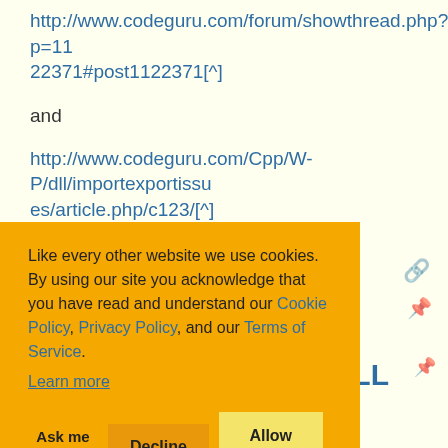http://www.codeguru.com/forum/showthread.php?p=1122371#post1122371[^]
and
http://www.codeguru.com/Cpp/W-P/dll/importexportissues/article.php/c123/[^]
[Figure (screenshot): Cookie consent banner with orange background, text about cookie policy and privacy policy, with Ask me later, Decline, and Allow cookies buttons]
DLL
n DLL
Anonymous